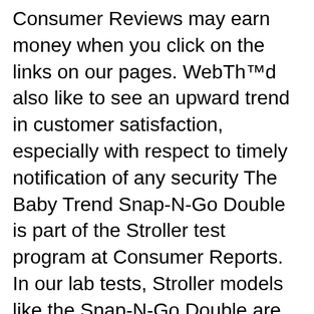Consumer Reviews may earn money when you click on the links on our pages. We’d also like to see an upward trend in customer satisfaction, especially with respect to timely notification of any security The Baby Trend Snap-N-Go Double is part of the Stroller test program at Consumer Reports. In our lab tests, Stroller models like the Snap-N-Go Double are rated on multiple criteria, such as those
Baby Trend Expedition Travel System This stroller is a great example that not only standard strollers can be turned into travel systems, but also joggers can be used with infant car seat! If you are a jogging lover and want to use only